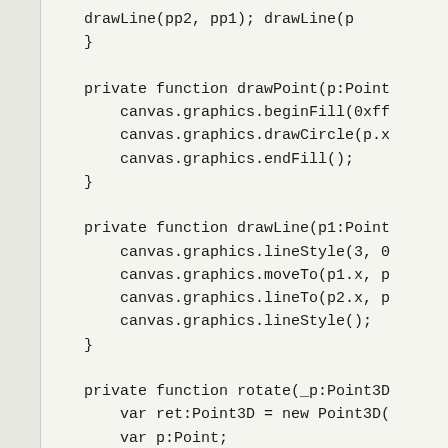drawLine(pp2, pp1); drawLine(p
    }

    private function drawPoint(p:Point
        canvas.graphics.beginFill(0xff
        canvas.graphics.drawCircle(p.x
        canvas.graphics.endFill();
    }

    private function drawLine(p1:Point
        canvas.graphics.lineStyle(3, 0
        canvas.graphics.moveTo(p1.x, p
        canvas.graphics.lineTo(p2.x, p
        canvas.graphics.lineStyle();
    }

    private function rotate(_p:Point3D
        var ret:Point3D = new Point3D(
        var p:Point;

        // y rotate
        p = rotate2d(ret.z, ret.x, sta
        ret.z = p.x; ret.x = p.y;